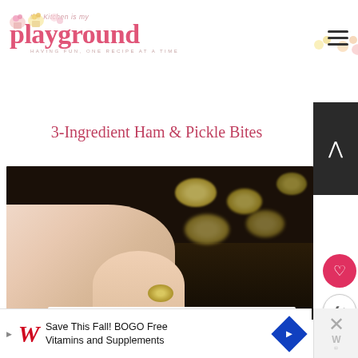the Kitchen is my playground — HAVING FUN, ONE RECIPE AT A TIME
3-Ingredient Ham & Pickle Bites
[Figure (photo): Close-up photo of ham and pickle bites on a dark baking tray, with a hand touching one bite in the foreground and more bites blurred in the background]
WHAT'S NEXT → Bacon-Cheddar...
Save This Fall! BOGO Free Vitamins and Supplements